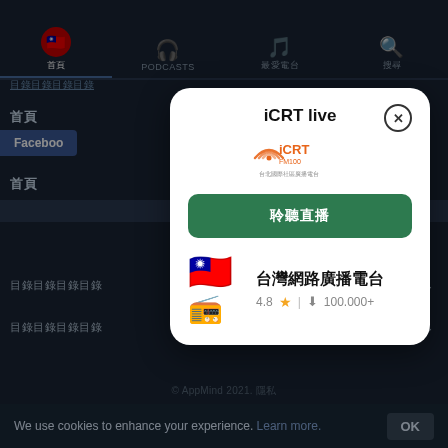PODCASTS navigation bar with icons
oooooooo
oo
Facebook
oo
oooooooo
oooooooo
[Figure (screenshot): iCRT live modal dialog popup showing the iCRT FM100 logo, a green listen button with Chinese text, and the Taiwan Radio app promo with flag icon, radio icon, 4.8 star rating and 100.000+ downloads]
iCRT live
[Figure (logo): iCRT FM100 radio station logo with orange wifi signal waves and Chinese text]
聆聽直播
台灣網路廣播電台
4.8 ★  |  ⬇  100.000+
© AppMind 2021. oooo
We use cookies to enhance your experience. Learn more.
OK